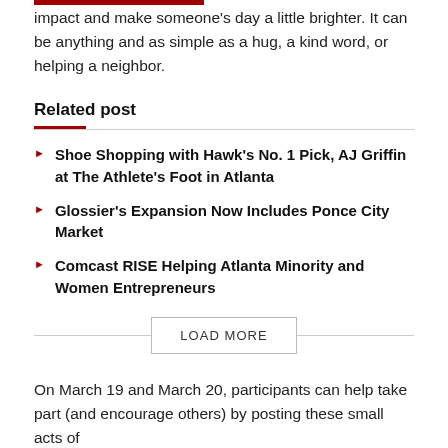impact and make someone's day a little brighter. It can be anything and as simple as a hug, a kind word, or helping a neighbor.
Related post
Shoe Shopping with Hawk's No. 1 Pick, AJ Griffin at The Athlete's Foot in Atlanta
Glossier's Expansion Now Includes Ponce City Market
Comcast RISE Helping Atlanta Minority and Women Entrepreneurs
On March 19 and March 20, participants can help take part (and encourage others) by posting these small acts of kindness on their social media pages as well as on att...